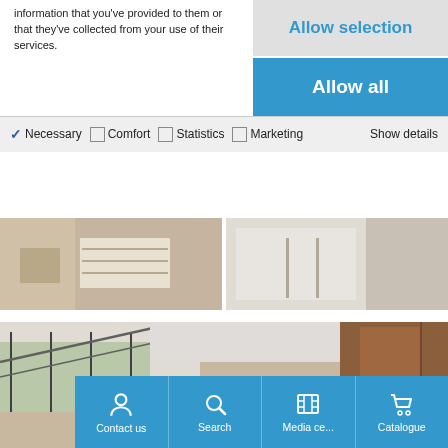information that you've provided to them or that they've collected from your use of their services.
Allow selection
Allow all
✓ Necessary  □ Comfort  □ Statistics  □ Marketing  Show details
[Figure (photo): Interior photo showing a white drawer unit on left side]
[Figure (photo): Interior photo showing white cabinet against light wall]
[Figure (photo): Large interior photo showing modern staircase with glass, wood wardrobe, and garden view]
Contact us  Search  Media ce...  Catalogue